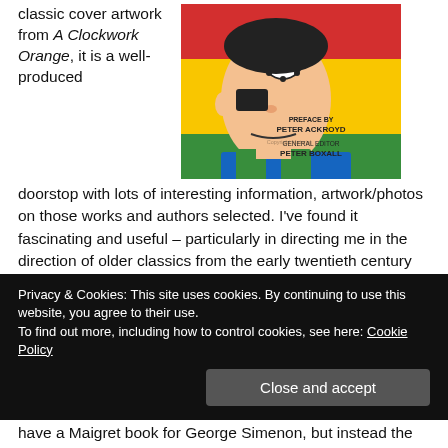classic cover artwork from A Clockwork Orange, it is a well-produced doorstop with lots of interesting information, artwork/photos on those works and authors selected. I've found it fascinating and useful – particularly in directing me in the direction of older classics from the early twentieth century backwards.
[Figure (photo): Book cover of a classic novels anthology featuring pop-art style illustration of a man with a mechanical eye, with text 'PREFACE BY PETER ACKROYD' and 'GENERAL EDITOR PETER BOXALL' on a red/yellow/green background.]
The Rough Guide to Classic Novels by Simon Mason. Covering just over 200 great novels in some detail, and dinky in size – this is my favourite book-guide. It is split into 12 genres and has a
Privacy & Cookies: This site uses cookies. By continuing to use this website, you agree to their use.
To find out more, including how to control cookies, see here: Cookie Policy
have a Maigret book for George Simenon, but instead the novel